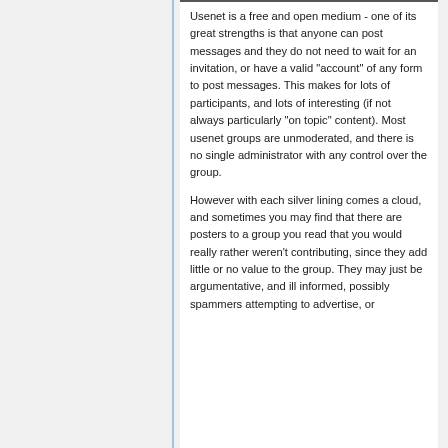Usenet is a free and open medium - one of its great strengths is that anyone can post messages and they do not need to wait for an invitation, or have a valid "account" of any form to post messages. This makes for lots of participants, and lots of interesting (if not always particularly "on topic" content). Most usenet groups are unmoderated, and there is no single administrator with any control over the group.
However with each silver lining comes a cloud, and sometimes you may find that there are posters to a group you read that you would really rather weren't contributing, since they add little or no value to the group. They may just be argumentative, and ill informed, possibly spammers attempting to advertise, or